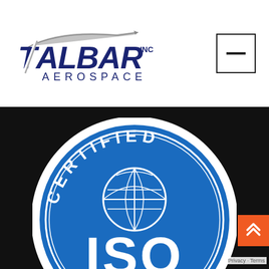[Figure (logo): Talbar Inc Aerospace company logo with stylized aircraft swoosh and bold italic lettering, dark navy/blue color]
[Figure (other): Square hamburger/menu button icon with a horizontal bar in center, black border]
[Figure (other): ISO Certified badge/seal on black background - large blue circle with white text CERTIFIED arched at top, globe/world icon, and large white ISO text in center. Orange scroll-to-top button with chevron arrows in bottom right. Privacy - Terms label visible.]